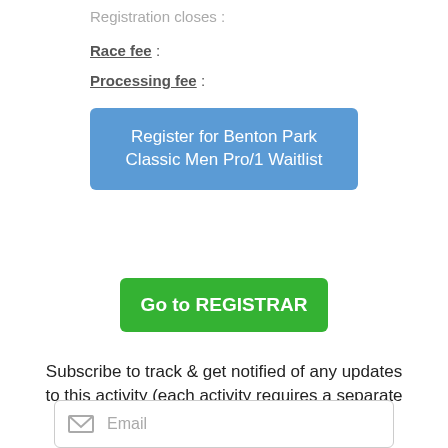Registration closes :
Race fee :
Processing fee :
Register for Benton Park Classic Men Pro/1 Waitlist
Go to REGISTRAR
Subscribe to track & get notified of any updates to this activity (each activity requires a separate subscription/submission).
Email